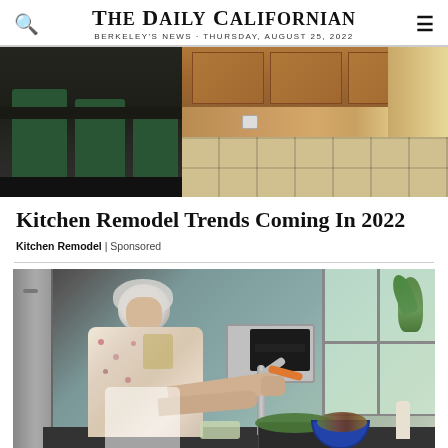THE DAILY CALIFORNIAN
BERKELEY'S NEWS · THURSDAY, AUGUST 25, 2022
[Figure (photo): Kitchen interior showing green chairs at a dark counter island, wood cabinets, and tile floor]
Kitchen Remodel Trends Coming In 2022
Kitchen Remodel | Sponsored
[Figure (photo): Elderly woman with white curly hair washing vegetables at a kitchen sink near a window with a plant, blue bowl of vegetables visible]